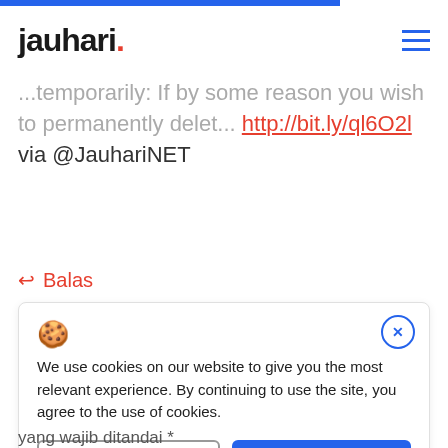jauhari.
...temporarily: If by some reason you wish to permanently delet... http://bit.ly/ql6O2l via @JauhariNET
Balas
We use cookies on our website to give you the most relevant experience. By continuing to use the site, you agree to the use of cookies.
yang wajib ditandai *